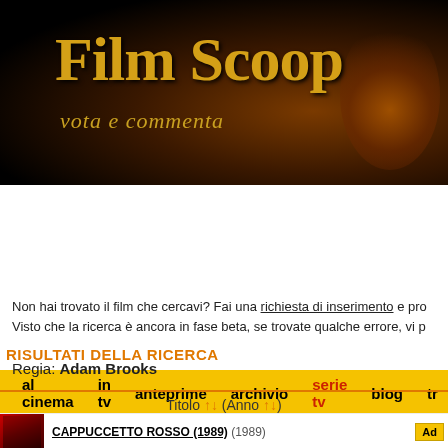Film Scoop — vota e commenta
al cinema  in tv  anteprime  archivio  serie tv  blog  tr
NEWS   Ricerca veloce: Titolo del Film
Non hai trovato il film che cercavi? Fai una richiesta di inserimento e pro Visto che la ricerca è ancora in fase beta, se trovate qualche errore, vi p
RISULTATI DELLA RICERCA
Regia: Adam Brooks
| Titolo ↑↓ (Anno ↑↓) |
| --- |
| CAPPUCCETTO ROSSO (1989) (1989) |
CAPPUCCETTO ROSSO (1989) (1989)